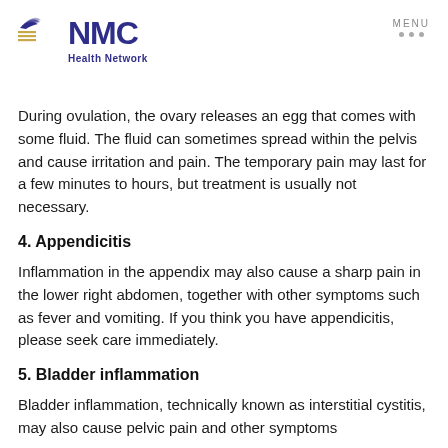[Figure (logo): NMC Health Network logo with eagle/wing symbol in blue and gold]
MENU
During ovulation, the ovary releases an egg that comes with some fluid. The fluid can sometimes spread within the pelvis and cause irritation and pain. The temporary pain may last for a few minutes to hours, but treatment is usually not necessary.
4. Appendicitis
Inflammation in the appendix may also cause a sharp pain in the lower right abdomen, together with other symptoms such as fever and vomiting. If you think you have appendicitis, please seek care immediately.
5. Bladder inflammation
Bladder inflammation, technically known as interstitial cystitis, may also cause pelvic pain and other symptoms